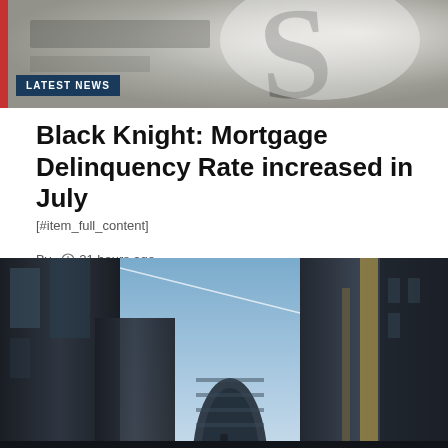[Figure (photo): Blurred close-up of newspaper or document pages in black and white with bokeh effect]
LATEST NEWS
Black Knight: Mortgage Delinquency Rate increased in July
[#item_full_content]
By  21 hours ago
[Figure (photo): Upward-looking view of tall glass skyscrapers against a blue sky, with a jet contrail visible]